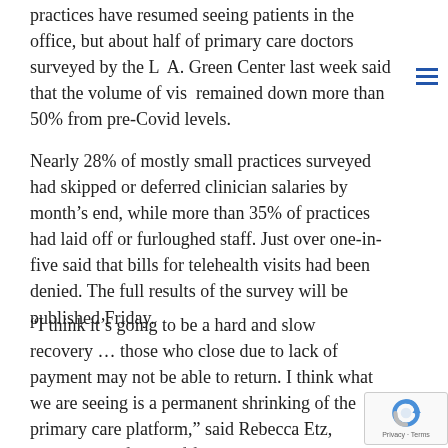practices have resumed seeing patients in the office, but about half of primary care doctors surveyed by the L— A. Green Center last week said that the volume of visits remained down more than 50% from pre-Covid levels.
Nearly 28% of mostly small practices surveyed had skipped or deferred clinician salaries by month's end, while more than 35% of practices had laid off or furloughed staff. Just over one-in-five said that bills for telehealth visits had been denied. The full results of the survey will be published Friday.
“I think it’s going to be a hard and slow recovery … those who close due to lack of payment may not be able to return. I think what we are seeing is a permanent shrinking of the primary care platform,” said Rebecca Etz, associate professor of family medicine at Virginia Commonwealth University and co-director of the L— A Green Center.